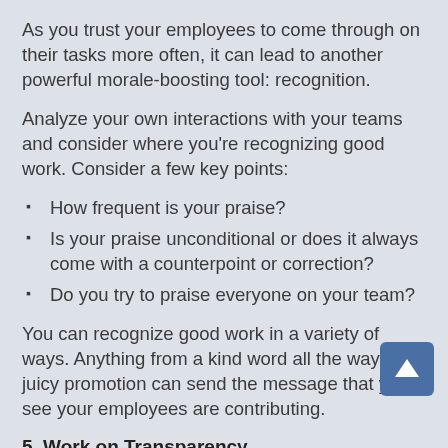As you trust your employees to come through on their tasks more often, it can lead to another powerful morale-boosting tool: recognition.
Analyze your own interactions with your teams and consider where you're recognizing good work. Consider a few key points:
How frequent is your praise?
Is your praise unconditional or does it always come with a counterpoint or correction?
Do you try to praise everyone on your team?
You can recognize good work in a variety of ways. Anything from a kind word all the way to a juicy promotion can send the message that you see your employees are contributing.
5. Work on Transparency
There are proactive activities that can help you cultivate positive work morale, and then there are